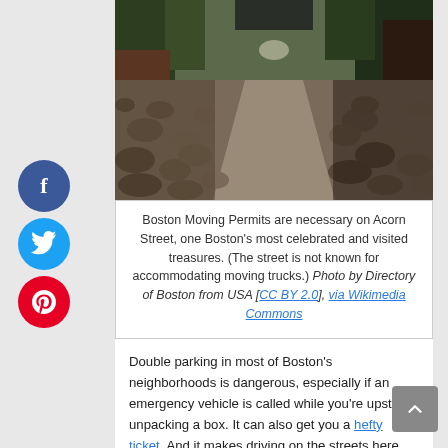[Figure (photo): Cobblestone street (Acorn Street, Boston) viewed from street level, flanked by brick buildings and trees, with a central gutter channel running down the middle.]
Boston Moving Permits are necessary on Acorn Street, one Boston's most celebrated and visited treasures. (The street is not known for accommodating moving trucks.) Photo by Directory of Boston from USA [CC BY 2.0], via Wikimedia Commons
Double parking in most of Boston's neighborhoods is dangerous, especially if an emergency vehicle is called while you’re upstairs unpacking a box. It can also get you a hefty ticket. And it makes driving on the streets here more difficult than it already is –